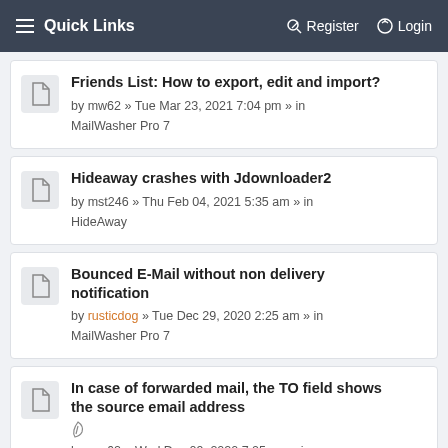Quick Links   Register   Login
Friends List: How to export, edit and import? by mw62 » Tue Mar 23, 2021 7:04 pm » in MailWasher Pro 7
Hideaway crashes with Jdownloader2 by mst246 » Thu Feb 04, 2021 5:35 am » in HideAway
Bounced E-Mail without non delivery notification by rusticdog » Tue Dec 29, 2020 2:25 am » in MailWasher Pro 7
In case of forwarded mail, the TO field shows the source email address by mw62 » Wed Dec 09, 2020 7:05 pm » in MailWasher Pro 7